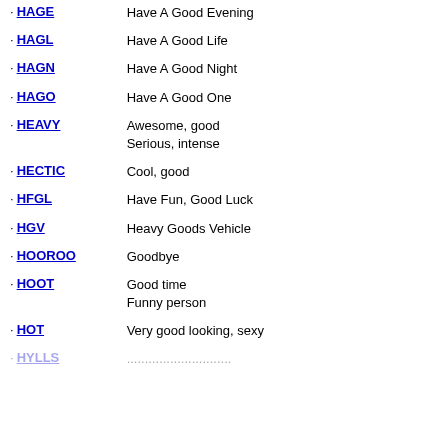HAGE – Have A Good Evening
HAGL – Have A Good Life
HAGN – Have A Good Night
HAGO – Have A Good One
HEAVY – Awesome, good / Serious, intense
HECTIC – Cool, good
HFGL – Have Fun, Good Luck
HGV – Heavy Goods Vehicle
HOOROO – Goodbye
HOOT – Good time / Funny person
HOT – Very good looking, sexy
HYLLS – ...